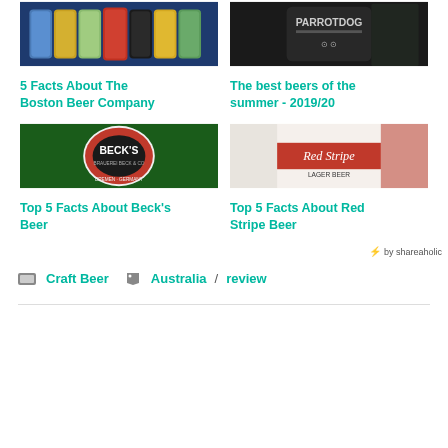[Figure (photo): Row of Boston Beer Company bottles]
5 Facts About The Boston Beer Company
[Figure (photo): Hand holding a Parrot Dog beer can/mug]
The best beers of the summer - 2019/20
[Figure (photo): Beck's Beer logo on green background]
Top 5 Facts About Beck's Beer
[Figure (photo): Red Stripe Lager Beer bottle]
Top 5 Facts About Red Stripe Beer
by shareaholic
Craft Beer   Australia / review